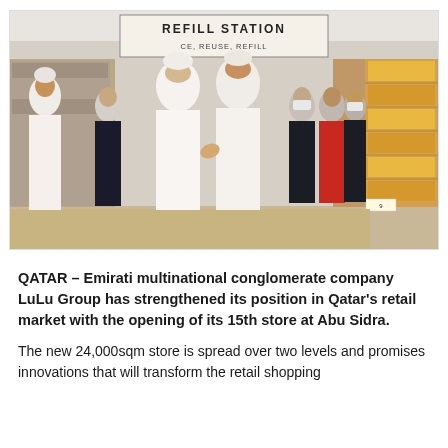[Figure (photo): Group of men in a LuLu hypermarket store. Two men in white thobes are prominently in the center, shaking hands or gesturing. Others in business suits surround them. In the background is a 'REFILL STATION' sign. Shelving with products is visible on the right side.]
QATAR – Emirati multinational conglomerate company LuLu Group has strengthened its position in Qatar's retail market with the opening of its 15th store at Abu Sidra.
The new 24,000sqm store is spread over two levels and promises innovations that will transform the retail shopping